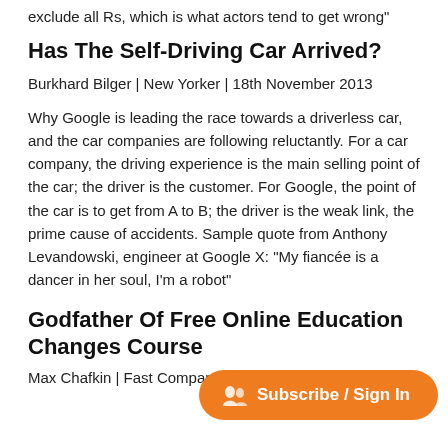exclude all Rs, which is what actors tend to get wrong"
Has The Self-Driving Car Arrived?
Burkhard Bilger | New Yorker | 18th November 2013
Why Google is leading the race towards a driverless car, and the car companies are following reluctantly. For a car company, the driving experience is the main selling point of the car; the driver is the customer. For Google, the point of the car is to get from A to B; the driver is the weak link, the prime cause of accidents. Sample quote from Anthony Levandowski, engineer at Google X: “My fiancée is a dancer in her soul, I’m a robot”
Godfather Of Free Online Education Changes Course
Max Chafkin | Fast Company | 14th November 2013